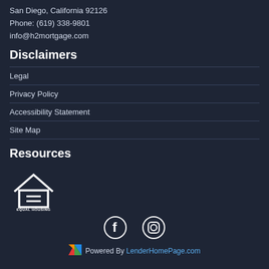San Diego, California 92126
Phone: (619) 338-9801
info@h2mortgage.com
Disclaimers
Legal
Privacy Policy
Accessibility Statement
Site Map
Resources
[Figure (logo): Equal Housing Opportunity logo — house outline with an equals sign inside, and text 'EQUAL HOUSING OPPORTUNITY' below]
[Figure (illustration): Facebook icon (f) and Instagram icon in white circles]
[Figure (logo): LenderHomePage.com logo icon — colorful geometric shape]
Powered By LenderHomePage.com